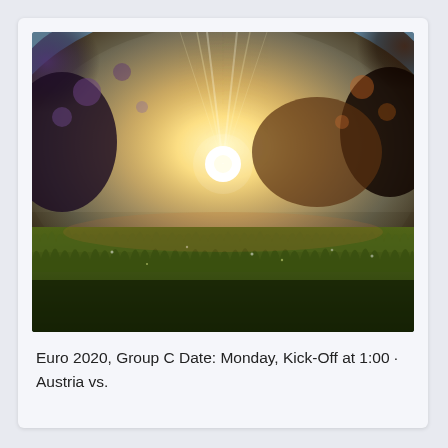[Figure (photo): Low-angle photo of a grassy field at golden hour sunset, with bokeh trees and sunburst light rays in the background]
Euro 2020, Group C Date: Monday, Kick-Off at 1:00 · Austria vs.